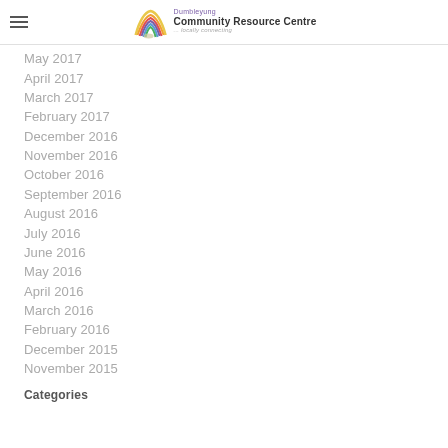Dumbleyung Community Resource Centre — locally connecting
May 2017
April 2017
March 2017
February 2017
December 2016
November 2016
October 2016
September 2016
August 2016
July 2016
June 2016
May 2016
April 2016
March 2016
February 2016
December 2015
November 2015
Categories